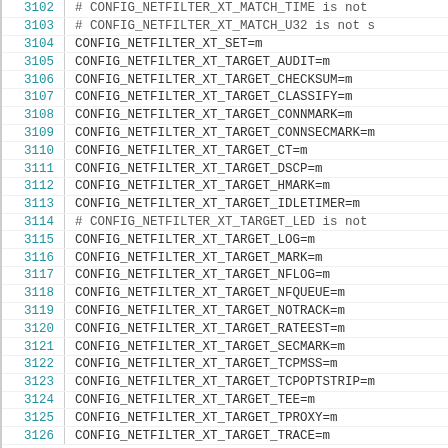3102 # CONFIG_NETFILTER_XT_MATCH_TIME is not
3103 # CONFIG_NETFILTER_XT_MATCH_U32 is not s
3104 CONFIG_NETFILTER_XT_SET=m
3105 CONFIG_NETFILTER_XT_TARGET_AUDIT=m
3106 CONFIG_NETFILTER_XT_TARGET_CHECKSUM=m
3107 CONFIG_NETFILTER_XT_TARGET_CLASSIFY=m
3108 CONFIG_NETFILTER_XT_TARGET_CONNMARK=m
3109 CONFIG_NETFILTER_XT_TARGET_CONNSECMARK=m
3110 CONFIG_NETFILTER_XT_TARGET_CT=m
3111 CONFIG_NETFILTER_XT_TARGET_DSCP=m
3112 CONFIG_NETFILTER_XT_TARGET_HMARK=m
3113 CONFIG_NETFILTER_XT_TARGET_IDLETIMER=m
3114 # CONFIG_NETFILTER_XT_TARGET_LED is not
3115 CONFIG_NETFILTER_XT_TARGET_LOG=m
3116 CONFIG_NETFILTER_XT_TARGET_MARK=m
3117 CONFIG_NETFILTER_XT_TARGET_NFLOG=m
3118 CONFIG_NETFILTER_XT_TARGET_NFQUEUE=m
3119 CONFIG_NETFILTER_XT_TARGET_NOTRACK=m
3120 CONFIG_NETFILTER_XT_TARGET_RATEEST=m
3121 CONFIG_NETFILTER_XT_TARGET_SECMARK=m
3122 CONFIG_NETFILTER_XT_TARGET_TCPMSS=m
3123 CONFIG_NETFILTER_XT_TARGET_TCPOPTSTRIP=m
3124 CONFIG_NETFILTER_XT_TARGET_TEE=m
3125 CONFIG_NETFILTER_XT_TARGET_TPROXY=m
3126 CONFIG_NETFILTER_XT_TARGET_TRACE=m